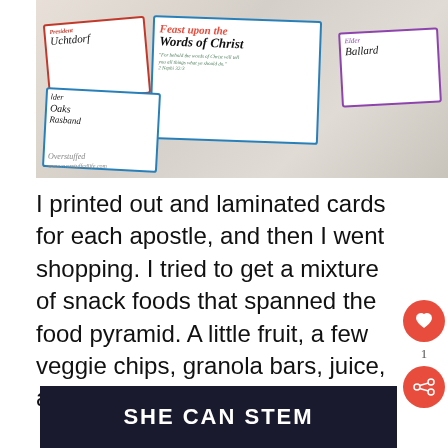[Figure (photo): Photo of laminated apostle cards scattered on a white surface with clothespins and decorative items. Cards include names like President Uchtdorf, Elder Oaks, Rasband, Elder Ballard, and one featuring text 'Feast upon the Words of Christ' with a scripture quote from 2 Nephi 32:3. Cards have colored borders (red, blue, purple). Overstuffed branding visible bottom left.]
I printed out and laminated cards for each apostle, and then I went shopping. I tried to get a mixture of snack foods that spanned the food pyramid. A little fruit, a few veggie chips, granola bars, juice, and
[Figure (screenshot): Dark banner advertisement reading 'SHE CAN STEM' in bold white letters on a dark navy/black background.]